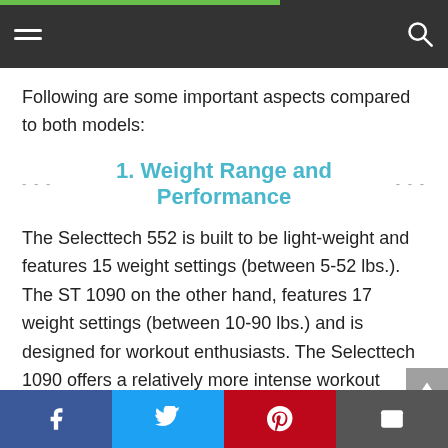Navigation bar with hamburger menu and search icon
Following are some important aspects compared to both models:
1. Weight Range and Performance
The Selecttech 552 is built to be light-weight and features 15 weight settings (between 5-52 lbs.). The ST 1090 on the other hand, features 17 weight settings (between 10-90 lbs.) and is designed for workout enthusiasts. The Selecttech 1090 offers a relatively more intense workout experience. So, if you are a beginner and have little experience at weightlifting, then the 552 is best suited for you.
Share bar: Facebook, Twitter, Pinterest, Email